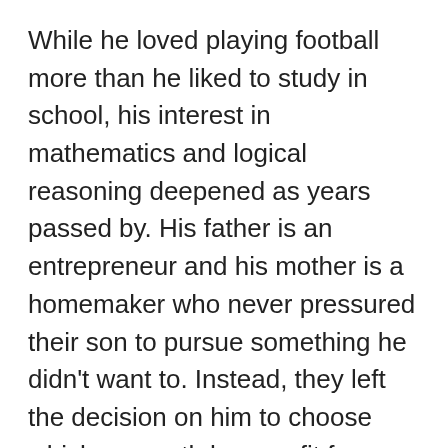While he loved playing football more than he liked to study in school, his interest in mathematics and logical reasoning deepened as years passed by. His father is an entrepreneur and his mother is a homemaker who never pressured their son to pursue something he didn't want to. Instead, they left the decision on him to choose whichever path he saw fit for himself – as a result of which he went on to utilise his likeness for mathematics and reasoning.
We had an interesting conversation with him to know more about how he developed an interest in programming and what led him to